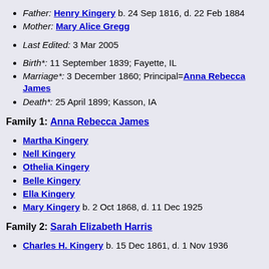Father: Henry Kingery b. 24 Sep 1816, d. 22 Feb 1884
Mother: Mary Alice Gregg
Last Edited: 3 Mar 2005
Birth*: 11 September 1839; Fayette, IL
Marriage*: 3 December 1860; Principal=Anna Rebecca James
Death*: 25 April 1899; Kasson, IA
Family 1: Anna Rebecca James
Martha Kingery
Nell Kingery
Othelia Kingery
Belle Kingery
Ella Kingery
Mary Kingery b. 2 Oct 1868, d. 11 Dec 1925
Family 2: Sarah Elizabeth Harris
Charles H. Kingery b. 15 Dec 1861, d. 1 Nov 1936